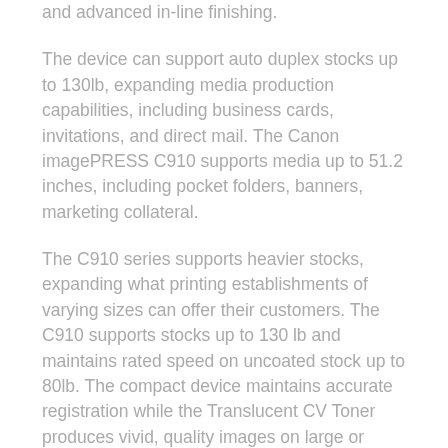and advanced in-line finishing.
The device can support auto duplex stocks up to 130lb, expanding media production capabilities, including business cards, invitations, and direct mail. The Canon imagePRESS C910 supports media up to 51.2 inches, including pocket folders, banners, marketing collateral.
The C910 series supports heavier stocks, expanding what printing establishments of varying sizes can offer their customers. The C910 supports stocks up to 130 lb and maintains rated speed on uncoated stock up to 80lb. The compact device maintains accurate registration while the Translucent CV Toner produces vivid, quality images on large or heavy stocks.
Canon designed the registration model to achieve accurate and consistent front to back registration